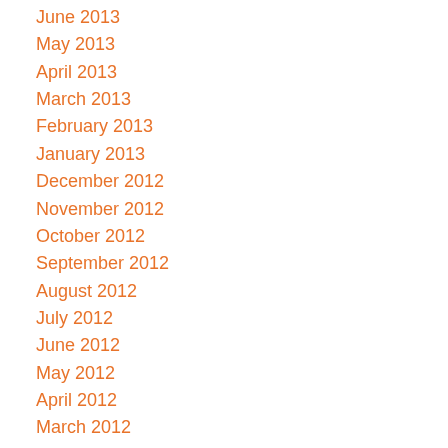June 2013
May 2013
April 2013
March 2013
February 2013
January 2013
December 2012
November 2012
October 2012
September 2012
August 2012
July 2012
June 2012
May 2012
April 2012
March 2012
February 2012
January 2012
December 2011
November 2011